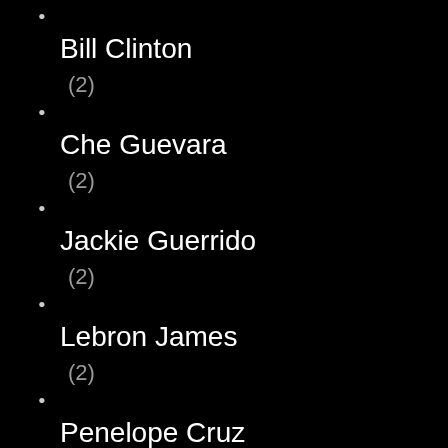Bill Clinton
(2)
Che Guevara
(2)
Jackie Guerrido
(2)
Lebron James
(2)
Penelope Cruz
(2)
Salma Hayek